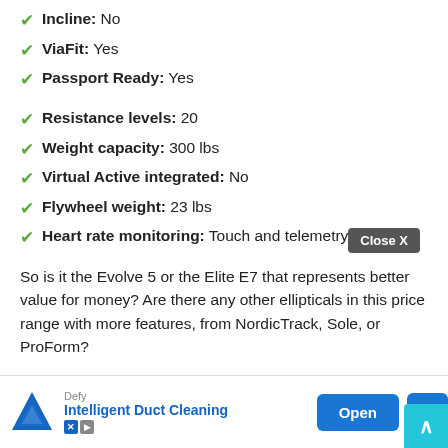Incline: No
ViaFit: Yes
Passport Ready: Yes
Resistance levels: 20
Weight capacity: 300 lbs
Virtual Active integrated: No
Flywheel weight: 23 lbs
Heart rate monitoring: Touch and telemetry
So is it the Evolve 5 or the Elite E7 that represents better value for money? Are there any other ellipticals in this price range with more features, from NordicTrack, Sole, or ProForm?
In our full review we've created an in-depth guide to the workout programs, fitness tracking, entertainment options and important...